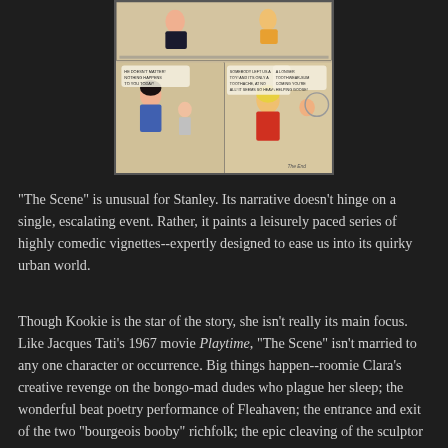[Figure (illustration): A vintage comic book page panel showing characters in a domestic scene with speech bubbles. A woman with dark hair in a blue outfit and another blonde character in an orange/red outfit are shown in multiple panels with dialogue.]
"The Scene" is unusual for Stanley. Its narrative doesn't hinge on a single, escalating event. Rather, it paints a leisurely paced series of highly comedic vignettes--expertly designed to ease us into its quirky urban world.
Though Kookie is the star of the story, she isn't really its main focus. Like Jacques Tati's 1967 movie Playtime, "The Scene" isn't married to any one character or occurrence. Big things happen--roomie Clara's creative revenge on the bongo-mad dudes who plague her sleep; the wonderful beat poetry performance of Fleahaven; the entrance and exit of the two "bourgeois booby" richfolk; the epic cleaving of the sculptor Herman's three-story statue. Big characters crowd